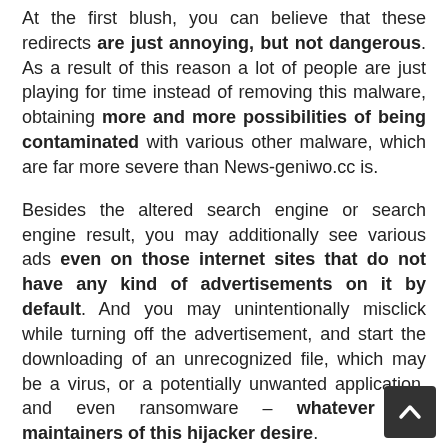At the first blush, you can believe that these redirects are just annoying, but not dangerous. As a result of this reason a lot of people are just playing for time instead of removing this malware, obtaining more and more possibilities of being contaminated with various other malware, which are far more severe than News-geniwo.cc is.
Besides the altered search engine or search engine result, you may additionally see various ads even on those internet sites that do not have any kind of advertisements on it by default. And you may unintentionally misclick while turning off the advertisement, and start the downloading of an unrecognized file, which may be a virus, or a potentially unwanted application, and even ransomware – whatever the maintainers of this hijacker desire.
If your web browser is damaged as a result of the Azorult trojan activity, the system may begin malfunctioning in a short time – this symptome is among the most common case of trojan infiltration.